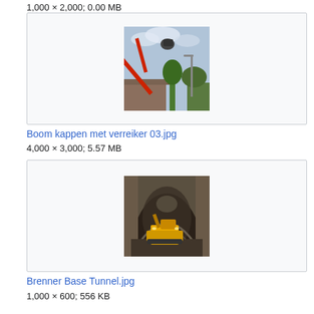1,000 × 2,000; 0.00 MB
[Figure (photo): Photo of a crane cutting a tree, with a red crane arm extended upward near a brick building and trees]
Boom kappen met verreiker 03.jpg
4,000 × 3,000; 5.57 MB
[Figure (photo): Photo of construction machinery inside a tunnel, showing a yellow excavator working inside a rock tunnel under construction]
Brenner Base Tunnel.jpg
1,000 × 600; 556 KB